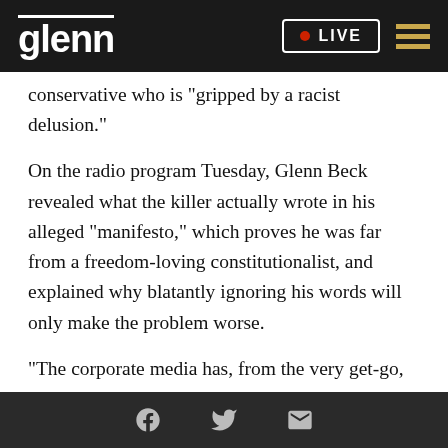glenn • LIVE
conservative who is "gripped by a racist delusion."
On the radio program Tuesday, Glenn Beck revealed what the killer actually wrote in his alleged "manifesto," which proves he was far from a freedom-loving constitutionalist, and explained why blatantly ignoring his words will only make the problem worse.
"The corporate media has, from the very get-go, tried to associate [the killer] with the Republicans, to say that he's a conservative, to say that he got all of his training from Tucker Carlson," Glenn began
Facebook Twitter Email